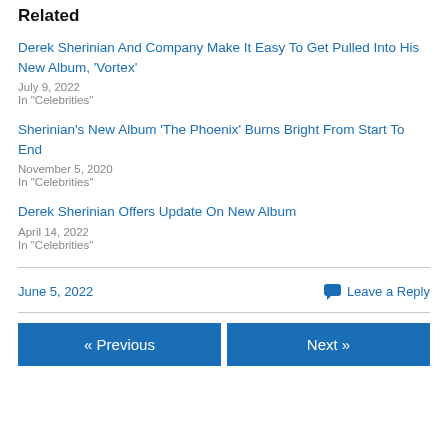Related
Derek Sherinian And Company Make It Easy To Get Pulled Into His New Album, ‘Vortex’
July 9, 2022
In "Celebrities"
Sherinian’s New Album ‘The Phoenix’ Burns Bright From Start To End
November 5, 2020
In "Celebrities"
Derek Sherinian Offers Update On New Album
April 14, 2022
In "Celebrities"
June 5, 2022     Leave a Reply
« Previous     Next »